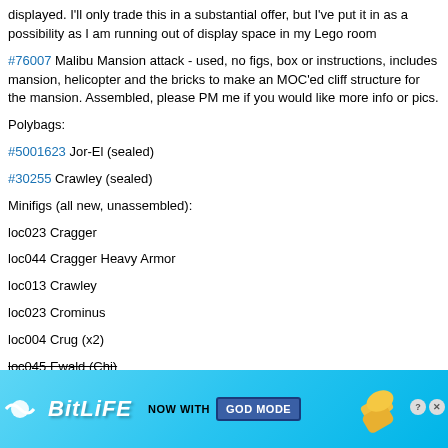displayed. I'll only trade this in a substantial offer, but I've put it in as a possibility as I am running out of display space in my Lego room
#76007 Malibu Mansion attack - used, no figs, box or instructions, includes mansion, helicopter and the bricks to make an MOC'ed cliff structure for the mansion. Assembled, please PM me if you would like more info or pics.
Polybags:
#5001623 Jor-El (sealed)
#30255 Crawley (sealed)
Minifigs (all new, unassembled):
loc023 Cragger
loc044 Cragger Heavy Armor
loc013 Crawley
loc023 Crominus
loc004 Crug (x2)
loc045 Ewald (Chi) [strikethrough]
loc041 Lagravis
[Figure (illustration): BitLife advertisement banner with cyan/blue gradient background showing BitLife logo, 'NOW WITH GOD MODE' text, thumbs-up hand graphic, close and help buttons.]